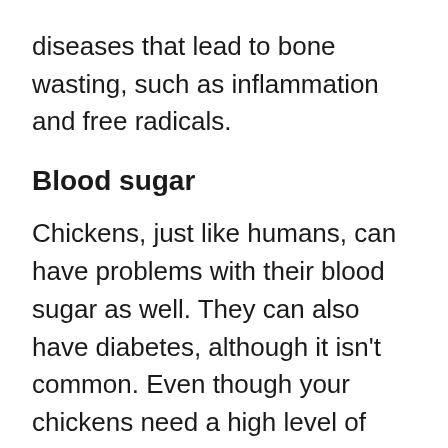diseases that lead to bone wasting, such as inflammation and free radicals.
Blood sugar
Chickens, just like humans, can have problems with their blood sugar as well. They can also have diabetes, although it isn't common. Even though your chickens need a high level of blood sugar to aid their metabolic activities, their blood sugar needs to be regulated. Apples help with regulating the production of insulin and glucagon in your chickens.